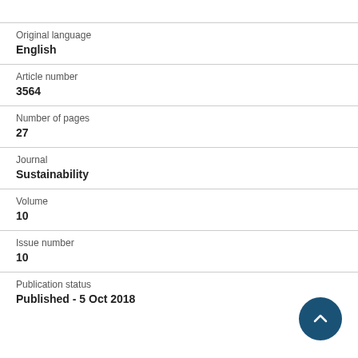Original language
English
Article number
3564
Number of pages
27
Journal
Sustainability
Volume
10
Issue number
10
Publication status
Published - 5 Oct 2018